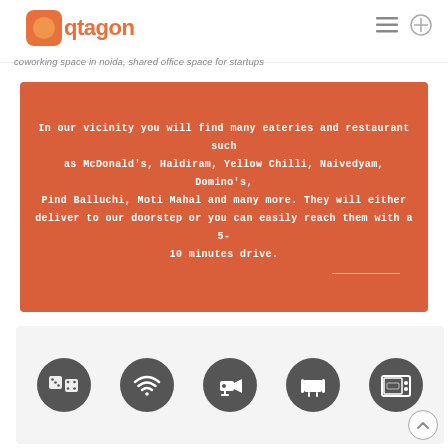[Figure (logo): Qtagon logo with orange hexagon icon and orange text 'qtagon']
coworking space in noida, shared office space for startups
In our vicinity you will find many eateries and restaurant such as McDonald's, Haldiram, Yellow Chilli, Naivedyam, Domino's, Pind Balluchi, Moti Mahal and many more. They will either deliver to our doorstep or you can easily reach them with a 5-10 minutes drive.
[Figure (illustration): Row of 5 circular dark grey icons: game dice, wifi signal, CCTV camera, lounge chair, microwave/TV]